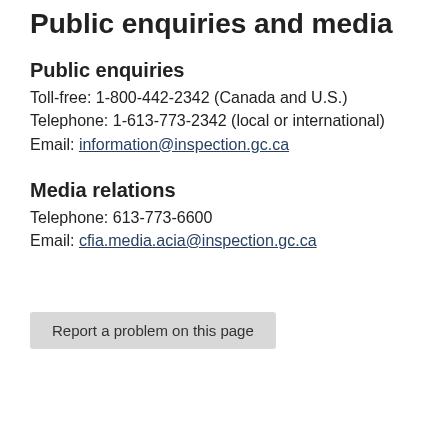Public enquiries and media
Public enquiries
Toll-free: 1-800-442-2342 (Canada and U.S.)
Telephone: 1-613-773-2342 (local or international)
Email: information@inspection.gc.ca
Media relations
Telephone: 613-773-6600
Email: cfia.media.acia@inspection.gc.ca
Report a problem on this page